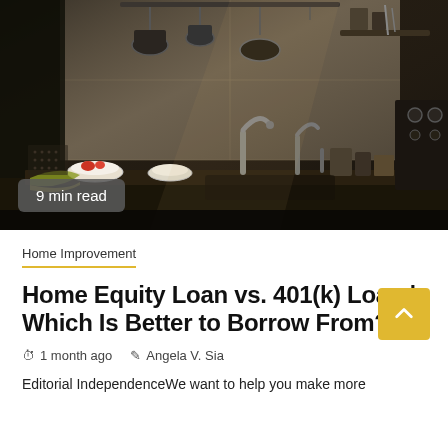[Figure (photo): Dark, moody kitchen scene with hanging pots and pans, a sink with faucets, bowls on the counter, and various kitchen utensils. Dramatic shadows and warm tones.]
9 min read
Home Improvement
Home Equity Loan vs. 401(k) Loan | Which Is Better to Borrow From?
1 month ago   Angela V. Sia
Editorial IndependenceWe want to help you make more